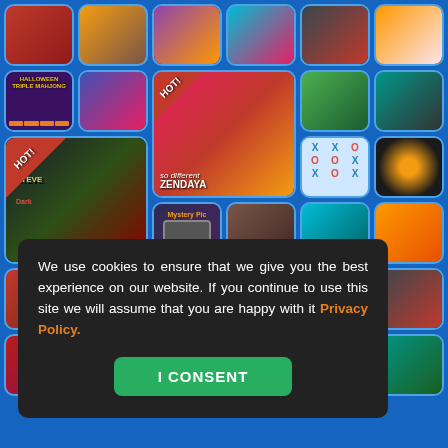[Figure (screenshot): Grid of colorful game tile icons on a blue background, including Halloween Triple Mahjong, Steve Dark, Zendaya dress-up game (HOT!), mystery pic, tic-tac-toe, sniper game, balloon game, car game, and many others. A cookie consent popup overlays the lower portion.]
We use cookies to ensure that we give you the best experience on our website. If you continue to use this site we will assume that you are happy with it Privacy Policy.
I CONSENT